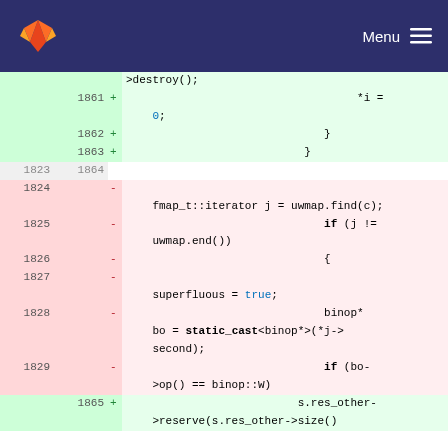GitLab logo | Menu
[Figure (screenshot): Code diff view showing lines 1823-1865 with added (green) and removed (red) lines of C++ source code]
>destroy();
1861 + *i = 0;
1862 + }
1863 + }
1823 1864
1824 - fmap_t::iterator j = uwmap.find(c);
1825 - if (j != uwmap.end())
1826 - {
1827 - superfluous = true;
1828 - binop* bo = static_cast<binop*>(*j->second);
1829 - if (bo->op() == binop::W)
1865 + s.res_other->reserve(s.res_other->size()